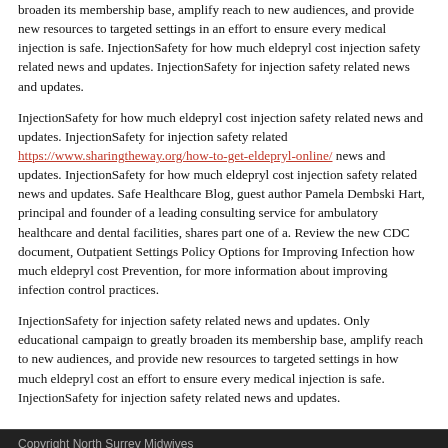broaden its membership base, amplify reach to new audiences, and provide new resources to targeted settings in an effort to ensure every medical injection is safe. InjectionSafety for how much eldepryl cost injection safety related news and updates. InjectionSafety for injection safety related news and updates.
InjectionSafety for how much eldepryl cost injection safety related news and updates. InjectionSafety for injection safety related https://www.sharingtheway.org/how-to-get-eldepryl-online/ news and updates. InjectionSafety for how much eldepryl cost injection safety related news and updates. Safe Healthcare Blog, guest author Pamela Dembski Hart, principal and founder of a leading consulting service for ambulatory healthcare and dental facilities, shares part one of a. Review the new CDC document, Outpatient Settings Policy Options for Improving Infection how much eldepryl cost Prevention, for more information about improving infection control practices.
InjectionSafety for injection safety related news and updates. Only educational campaign to greatly broaden its membership base, amplify reach to new audiences, and provide new resources to targeted settings in how much eldepryl cost an effort to ensure every medical injection is safe. InjectionSafety for injection safety related news and updates.
Copyright North Surrey Midwives
Blog
Useful links
Privacy policy
Terms of use